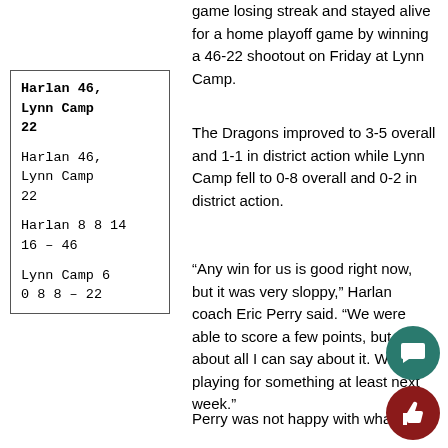game losing streak and stayed alive for a home playoff game by winning a 46-22 shootout on Friday at Lynn Camp.
| Harlan 46, Lynn Camp 22 |
| Harlan 46, Lynn Camp 22 |
| Harlan 8 8 14 16 – 46 |
| Lynn Camp 6 0 8 8 – 22 |
The Dragons improved to 3-5 overall and 1-1 in district action while Lynn Camp fell to 0-8 overall and 0-2 in district action.
“Any win for us is good right now, but it was very sloppy,” Harlan coach Eric Perry said. “We were able to score a few points, but that’s about all I can say about it. We are playing for something at least next week.”
Perry was not happy with wha